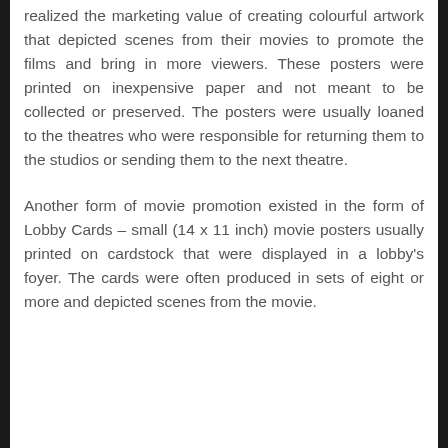realized the marketing value of creating colourful artwork that depicted scenes from their movies to promote the films and bring in more viewers. These posters were printed on inexpensive paper and not meant to be collected or preserved. The posters were usually loaned to the theatres who were responsible for returning them to the studios or sending them to the next theatre.
Another form of movie promotion existed in the form of Lobby Cards – small (14 x 11 inch) movie posters usually printed on cardstock that were displayed in a lobby's foyer. The cards were often produced in sets of eight or more and depicted scenes from the movie.